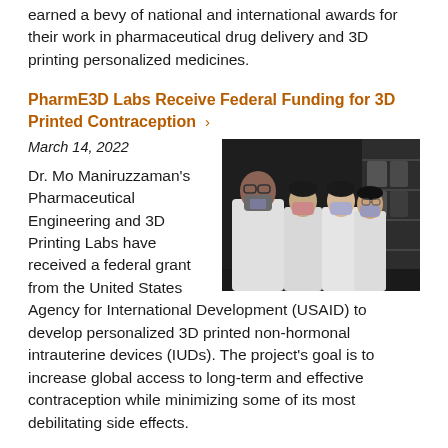earned a bevy of national and international awards for their work in pharmaceutical drug delivery and 3D printing personalized medicines.
PharmE3D Labs Receive Federal Funding for 3D Printed Contraception ›
March 14, 2022
[Figure (photo): Group photo of Dr. Mo Maniruzzaman and three lab members in white lab coats and face masks, standing in front of laboratory equipment.]
Dr. Mo Maniruzzaman’s Pharmaceutical Engineering and 3D Printing Labs have received a federal grant from the United States Agency for International Development (USAID) to develop personalized 3D printed non-hormonal intrauterine devices (IUDs). The project’s goal is to increase global access to long-term and effective contraception while minimizing some of its most debilitating side effects.
PharmE3D Labs Receive R01 Grant for Complex Vaccine Technologies